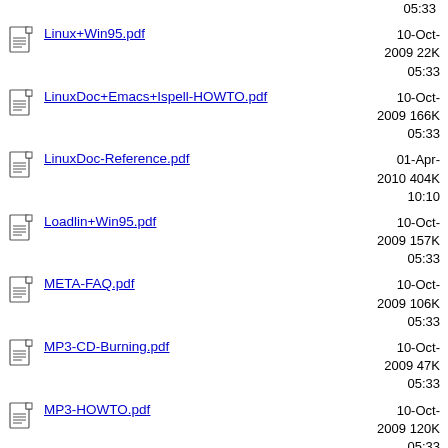Linux+Win95.pdf  10-Oct-2009  22K  05:33
LinuxDoc+Emacs+Ispell-HOWTO.pdf  10-Oct-2009  166K  05:33
LinuxDoc-Reference.pdf  01-Apr-2010  404K  10:10
Loadlin+Win95.pdf  10-Oct-2009  157K  05:33
META-FAQ.pdf  10-Oct-2009  106K  05:33
MP3-CD-Burning.pdf  10-Oct-2009  47K  05:33
MP3-HOWTO.pdf  10-Oct-2009  120K  05:33
Mail-Queue.pdf  10-Oct-2009  95K